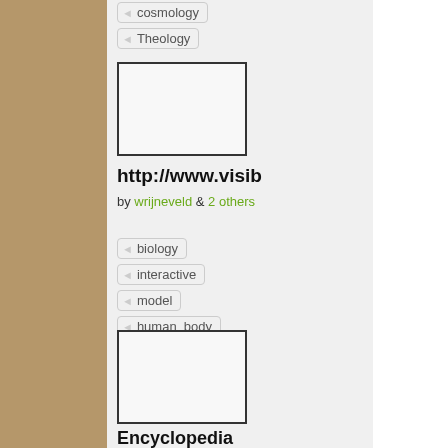cosmology
Theology
[Figure (other): Blank image placeholder with dark border]
http://www.visib
by wrijneveld & 2 others
biology
interactive
model
human_body
[Figure (other): Blank image placeholder with dark border]
Encyclopedia